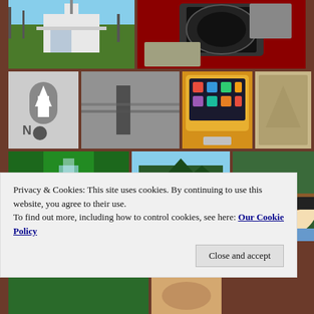[Figure (photo): Photo collage grid with multiple images: white church building, sunglasses/helmet items, cross guitar pick, black and white moody shot, iPad/tablet, rock/stone, waterfall nature scene, mountain forest landscape, person selfie with sunglasses]
Privacy & Cookies: This site uses cookies. By continuing to use this website, you agree to their use.
To find out more, including how to control cookies, see here: Our Cookie Policy
Close and accept